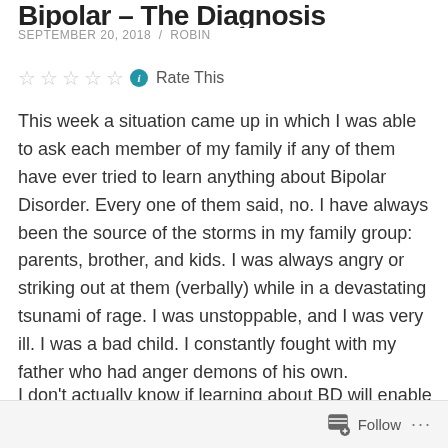Bipolar – The Diagnosis
SEPTEMBER 20, 2018 / ROBIN
☆☆☆☆☆ ℹ Rate This
This week a situation came up in which I was able to ask each member of my family if any of them have ever tried to learn anything about Bipolar Disorder. Every one of them said, no. I have always been the source of the storms in my family group: parents, brother, and kids. I was always angry or striking out at them (verbally) while in a devastating tsunami of rage. I was unstoppable, and I was very ill. I was a bad child. I constantly fought with my father who had anger demons of his own.
I don't actually know if learning about BD will enable
Follow ...